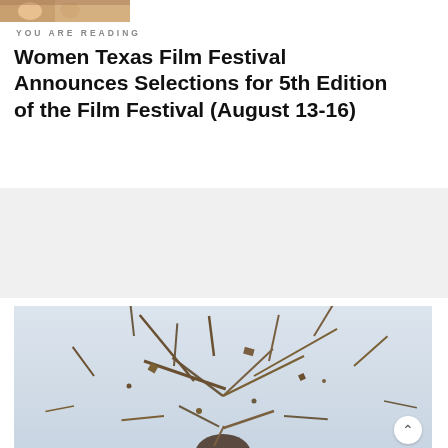[Figure (photo): Small thumbnail photo of people at top left corner]
YOU ARE READING
Women Texas Film Festival Announces Selections for 5th Edition of the Film Festival (August 13-16)
[Figure (screenshot): Dropdown selector UI element with 'AdChat DFW Film' selected on a grey background]
[Figure (photo): Abstract photo showing scattered stick-like debris exploding outward from a central point, light blue/grey background with a dark spherical object at the bottom]